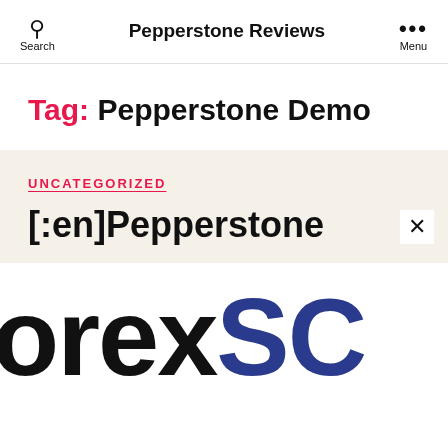Search | Pepperstone Reviews | Menu
Tag: Pepperstone Demo
UNCATEGORIZED
[:en]Pepperstone
[Figure (logo): Partial logo text reading 'orexSC' in large bold black and dark blue letters, likely part of 'ForexSC']